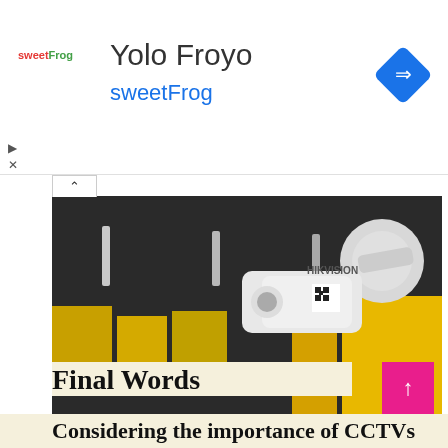[Figure (screenshot): Ad banner for Yolo Froyo sweetFrog with logo, text, and diamond navigation icon]
[Figure (photo): Hikvision CCTV security camera mounted on wall in corridor with yellow storage units]
Final Words
Considering the importance of CCTVs